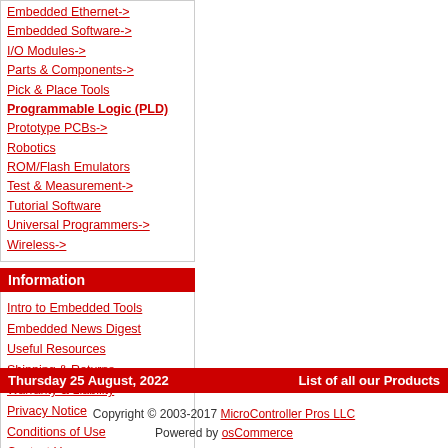Embedded Ethernet->
Embedded Software->
I/O Modules->
Parts & Components->
Pick & Place Tools
Programmable Logic (PLD)
Prototype PCBs->
Robotics
ROM/Flash Emulators
Test & Measurement->
Tutorial Software
Universal Programmers->
Wireless->
Information
Intro to Embedded Tools
Embedded News Digest
Useful Resources
Shipping & Returns
Warranty & Liability
Privacy Notice
Conditions of Use
Contact Us
Thursday 25 August, 2022    List of all our Products
Copyright © 2003-2017 MicroController Pros LLC
Powered by osCommerce